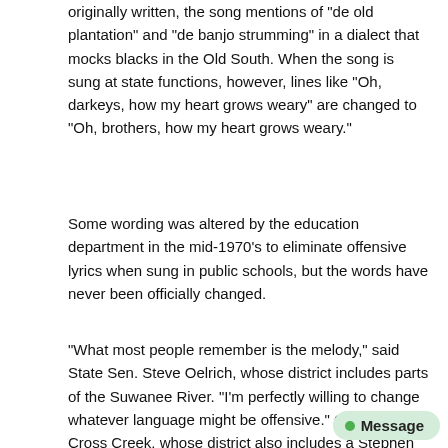originally written, the song mentions of 'de old plantation' and 'de banjo strumming' in a dialect that mocks blacks in the Old South. When the song is sung at state functions, however, lines like 'Oh, darkeys, how my heart grows weary' are changed to 'Oh, brothers, how my heart grows weary.'
Some wording was altered by the education department in the mid-1970's to eliminate offensive lyrics when sung in public schools, but the words have never been officially changed.
“What most people remember is the melody,” said State Sen. Steve Oelrich, whose district includes parts of the Suwanee River. “I’m perfectly willing to change whatever language might be offensive.” Oelrich, R-Cross Creek, whose district also includes a Stephen Foster Elementary School, said his office received hundreds of calls in support of keeping Foster’s internationally recognized tune.